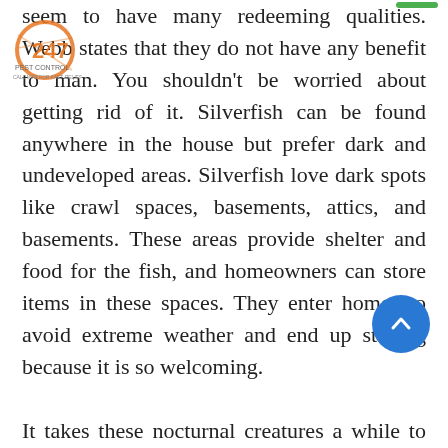[Figure (logo): 247 Pest Control logo with orange circle and text, with 'CALL MTR FOR FAST RELIEF' subtitle]
seem to have many redeeming qualities. Webb states that they do not have any benefit to man. You shouldn't be worried about getting rid of it. Silverfish can be found anywhere in the house but prefer dark and undeveloped areas. Silverfish love dark spots like crawl spaces, basements, attics, and basements. These areas provide shelter and food for the fish, and homeowners can store items in these spaces. They enter homes to avoid extreme weather and end up staying because it is so welcoming.

It takes these nocturnal creatures a while to reproduce enough to become an infestation. Keep your silverfish problem at bay by reducing the amount of junk you have. The key to controlling silverfish is to reduce or eliminate harborage. Large infestations can often be